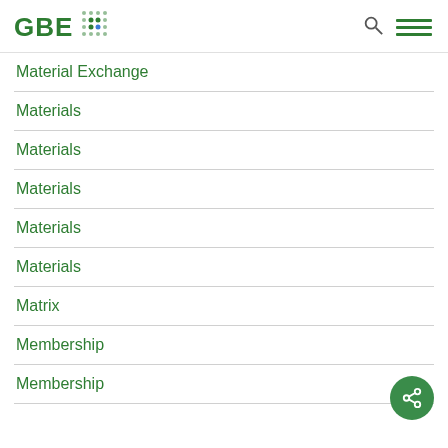GBE [logo with dots]
Material Exchange
Materials
Materials
Materials
Materials
Materials
Matrix
Membership
Membership